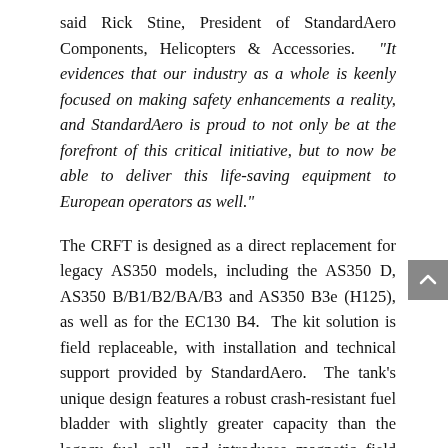said Rick Stine, President of StandardAero Components, Helicopters & Accessories. "It evidences that our industry as a whole is keenly focused on making safety enhancements a reality, and StandardAero is proud to not only be at the forefront of this critical initiative, but to now be able to deliver this life-saving equipment to European operators as well."
The CRFT is designed as a direct replacement for legacy AS350 models, including the AS350 D, AS350 B/B1/B2/BA/B3 and AS350 B3e (H125), as well as for the EC130 B4. The kit solution is field replaceable, with installation and technical support provided by StandardAero. The tank's unique design features a robust crash-resistant fuel bladder with slightly greater capacity than the legacy fuel cell, and introduces magnetic field sensor fuel gauging technology, a recessed sump drain valve, quick-change cartridge fuel pump design and vent system roll-over protection. The